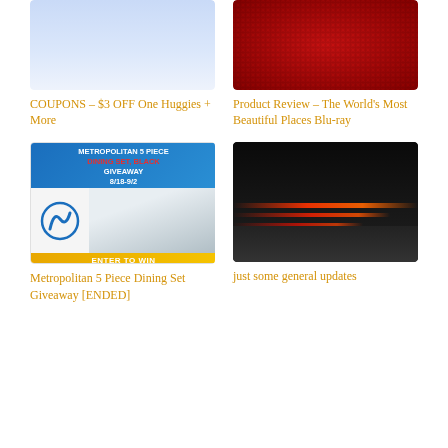[Figure (photo): Light blue sky photo, cropped top]
[Figure (photo): Close-up red LED/dot matrix screen]
COUPONS – $3 OFF One Huggies + More
Product Review – The World's Most Beautiful Places Blu-ray
[Figure (photo): Metropolitan 5 Piece Dining Set Black Giveaway 8/18-9/2 advertisement with Enter to Win banner]
[Figure (photo): Night road with red light streaks from car taillights]
Metropolitan 5 Piece Dining Set Giveaway [ENDED]
just some general updates